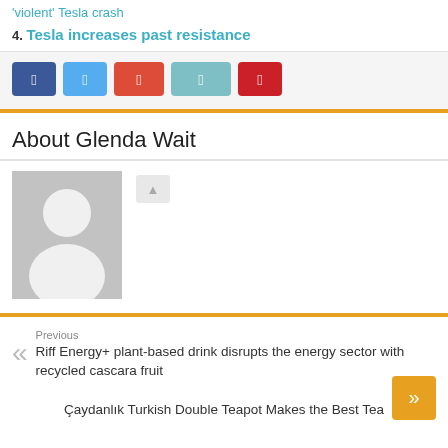'violent' Tesla crash
4. Tesla increases past resistance
[Figure (other): Social share buttons: Facebook, Twitter, Google+, LinkedIn, Pinterest]
About Glenda Wait
[Figure (photo): Gray placeholder avatar image of a person silhouette with a small social icon button beside it]
Previous
Riff Energy+ plant-based drink disrupts the energy sector with recycled cascara fruit
Next
Çaydanlık Turkish Double Teapot Makes the Best Tea